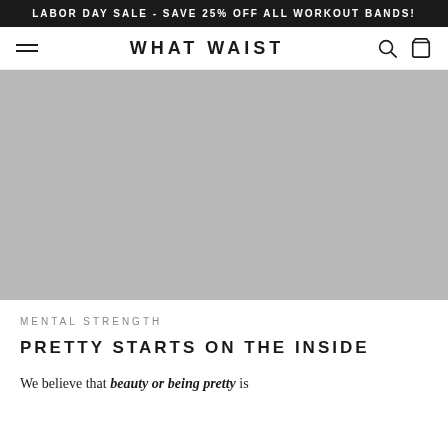LABOR DAY SALE - SAVE 25% OFF ALL WORKOUT BANDS!
WHAT WAIST
[Figure (photo): Large gray placeholder hero image filling full width]
MENTAL STRENGTH
PRETTY STARTS ON THE INSIDE
We believe that beauty or being pretty is